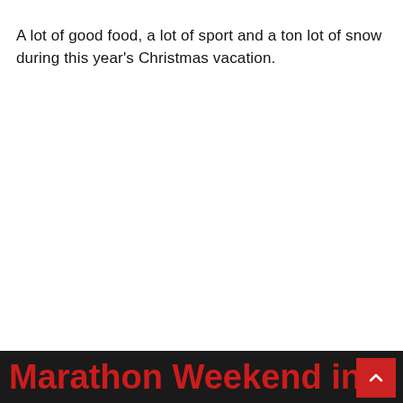A lot of good food, a lot of sport and a ton lot of snow during this year's Christmas vacation.
Marathon Weekend in